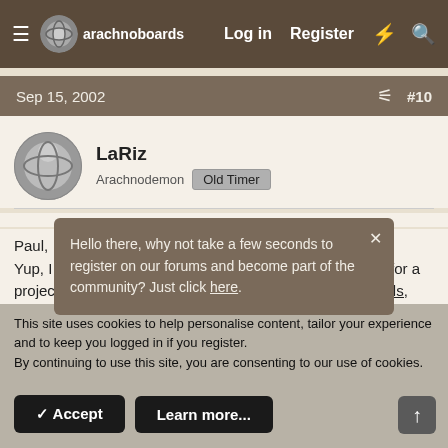arachnoboards — Log in  Register
Sep 15, 2002  #10
LaRiz
Arachnodemon  Old Timer
Paul,
Yup, I think the arboreals would might be a tad more fun for a project like this. I'm preferential when it comes to arboreals, especially the P... Currently, I have ... kept in the same enc... was a teeny tiny (little ones are like mites). They're prolific webbers to begin with, so it has a nice maze of webbing going. I'm certain there are trip snares in
Hello there, why not take a few seconds to register on our forums and become part of the community? Just click here.
This site uses cookies to help personalise content, tailor your experience and to keep you logged in if you register.
By continuing to use this site, you are consenting to our use of cookies.
✓ Accept    Learn more...